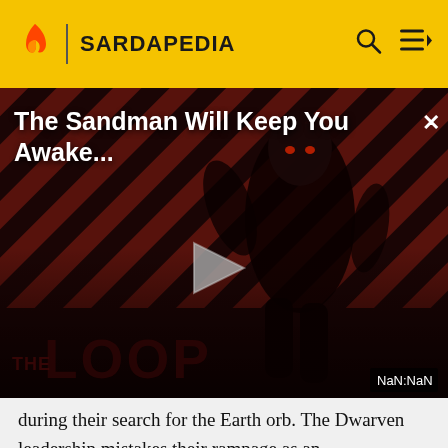SARDAPEDIA
[Figure (screenshot): Video player showing 'The Sandman Will Keep You Awake...' with a dark figure on a diagonal striped red/black background. A play button is visible in the center. 'THE LOOP' text appears in the lower left. 'NaN:NaN' timer shown in bottom right corner. An X close button is in the top right.]
during their search for the Earth orb. The Dwarven leadership mistakes their rampage as an unexplainable rash of flash fires that seem to strike at random. However, it appears that the Light Warriors are attacking towns so that a map showing all the